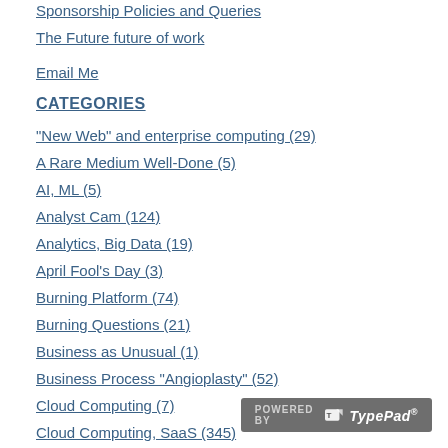Sponsorship Policies and Queries
The Future future of work
Email Me
CATEGORIES
"New Web" and enterprise computing (29)
A Rare Medium Well-Done (5)
AI, ML (5)
Analyst Cam (124)
Analytics, Big Data (19)
April Fool's Day (3)
Burning Platform (74)
Burning Questions (21)
Business as Unusual (1)
Business Process "Angioplasty" (52)
Cloud Computing (7)
Cloud Computing, SaaS (345)
Cloud Pioneers: Guest Column Series (1)
Compliance (SOX, others) (35)
Digital transformations (11)
Diversity Inclusion (3)
[Figure (logo): Powered by TypePad badge/logo in gray background at bottom right]